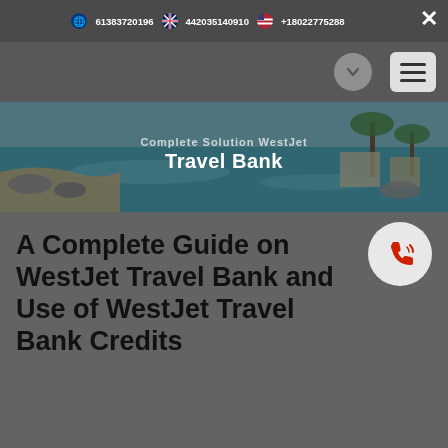61383720196  442035140910  +18022775288
[Figure (screenshot): Hero banner showing a tropical beach resort with blue water and palm trees, with text overlay reading 'Complete Solution WestJet Travel Bank']
A Complete Guide on WestJet Travel Bank and Use of WestJet Travel Bank Credits